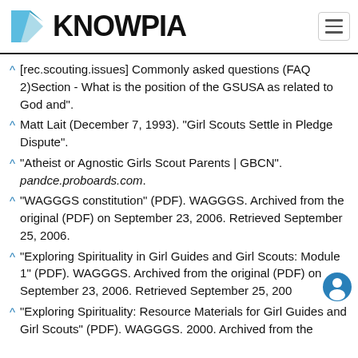KNOWPIA
^ [rec.scouting.issues] Commonly asked questions (FAQ 2)Section - What is the position of the GSUSA as related to God and".
^ Matt Lait (December 7, 1993). "Girl Scouts Settle in Pledge Dispute".
^ "Atheist or Agnostic Girls Scout Parents | GBCN". pandce.proboards.com.
^ "WAGGGS constitution" (PDF). WAGGGS. Archived from the original (PDF) on September 23, 2006. Retrieved September 25, 2006.
^ "Exploring Spirituality in Girl Guides and Girl Scouts: Module 1" (PDF). WAGGGS. Archived from the original (PDF) on September 23, 2006. Retrieved September 25, 200
^ "Exploring Spirituality: Resource Materials for Girl Guides and Girl Scouts" (PDF). WAGGGS. 2000. Archived from the